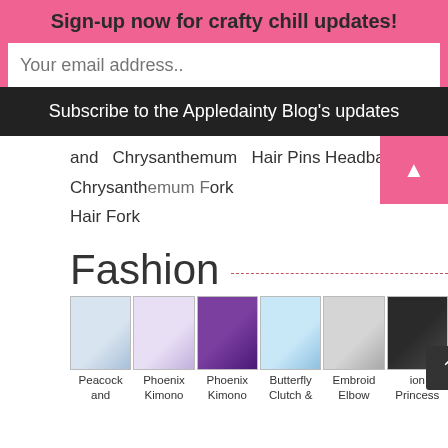Sign-up now for crafty chill updates!
Your email address..
Subscribe to the Appledainty Blog's updates
and   Chrysanthemum   Hair Pins Headband
Chrysanthemum Hair Fork
Hair Fork
Fashion
[Figure (photo): Row of 6 fashion product images: Peacock, Phoenix Kimono x2, Butterfly Clutch, Embroidered Elbow, Princess]
Peacock and   Phoenix Kimono   Phoenix Kimono   Butterfly Clutch &   Embroide Elbow   ion Princess